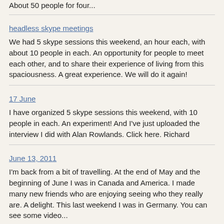About 50 people for four...
headless skype meetings
We had 5 skype sessions this weekend, an hour each, with about 10 people in each. An opportunity for people to meet each other, and to share their experience of living from this spaciousness. A great experience. We will do it again!
17 June
I have organized 5 skype sessions this weekend, with 10 people in each. An experiment! And I've just uploaded the interview I did with Alan Rowlands. Click here. Richard
June 13, 2011
I'm back from a bit of travelling. At the end of May and the beginning of June I was in Canada and America. I made many new friends who are enjoying seeing who they really are. A delight. This last weekend I was in Germany. You can see some video...